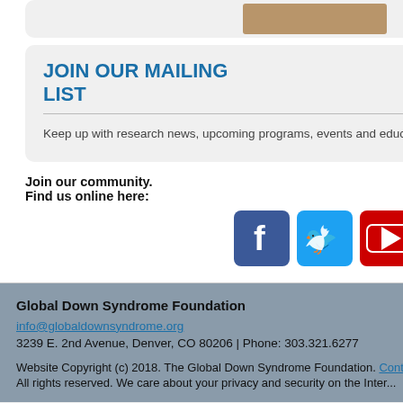JOIN OUR MAILING LIST
Keep up with research news, upcoming programs, events and educational conferences.
Join our community.
Find us online here:
[Figure (infographic): Social media icons for Facebook, Twitter, YouTube, and Instagram]
Global Down Syndrome Foundation
info@globaldownsyndrome.org
3239 E. 2nd Avenue, Denver, CO 80206 | Phone: 303.321.6277
Website Copyright (c) 2018. The Global Down Syndrome Foundation. Contact
All rights reserved. We care about your privacy and security on the Internet.
Shares